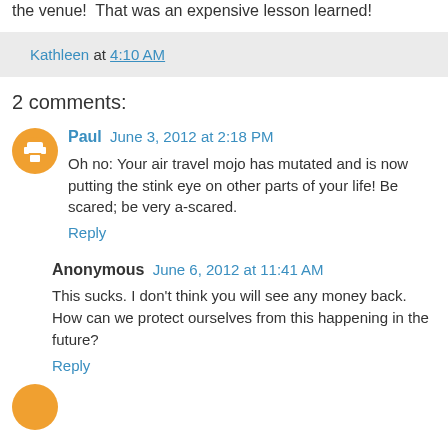the venue!  That was an expensive lesson learned!
Kathleen at 4:10 AM
2 comments:
Paul  June 3, 2012 at 2:18 PM
Oh no: Your air travel mojo has mutated and is now putting the stink eye on other parts of your life! Be scared; be very a-scared.
Reply
Anonymous  June 6, 2012 at 11:41 AM
This sucks. I don't think you will see any money back. How can we protect ourselves from this happening in the future?
Reply